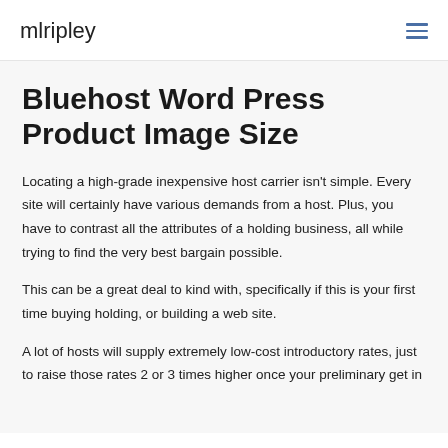mlripley
Bluehost Word Press Product Image Size
Locating a high-grade inexpensive host carrier isn't simple. Every site will certainly have various demands from a host. Plus, you have to contrast all the attributes of a holding business, all while trying to find the very best bargain possible.
This can be a great deal to kind with, specifically if this is your first time buying holding, or building a web site.
A lot of hosts will supply extremely low-cost introductory rates, just to raise those rates 2 or 3 times higher once your preliminary get in